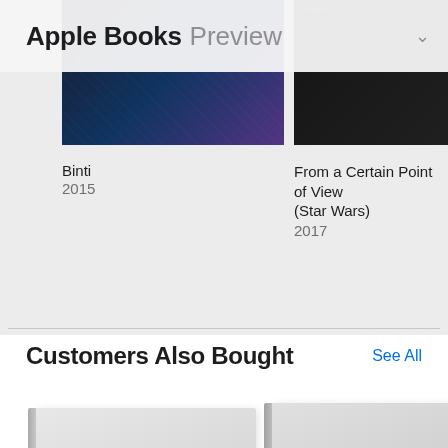Apple Books Preview
[Figure (photo): Book cover thumbnail - dark colored, partially visible at top]
Binti
2015
[Figure (photo): Book cover thumbnail - dark/black colored, RONLOS label visible]
From a Certain Point of View (Star Wars)
2017
[Figure (photo): Partial book cover thumbnail at right edge]
Wh
201
Customers Also Bought
See All
[Figure (photo): Light gray book cover thumbnail, partially visible, bottom of page]
[Figure (photo): Light gray book cover thumbnail, partially visible, bottom of page]
[Figure (photo): Partial gray book cover at right edge, bottom of page]